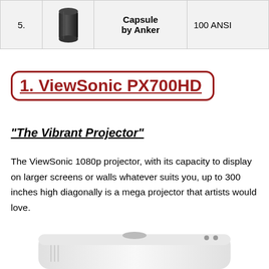| # | Image | Name | Spec |
| --- | --- | --- | --- |
| 5. |  | Capsule by Anker | 100 ANSI |
1. ViewSonic PX700HD
“The Vibrant Projector”
The ViewSonic 1080p projector, with its capacity to display on larger screens or walls whatever suits you, up to 300 inches high diagonally is a mega projector that artists would love.
[Figure (photo): Bottom portion of a white ViewSonic PX700HD projector]